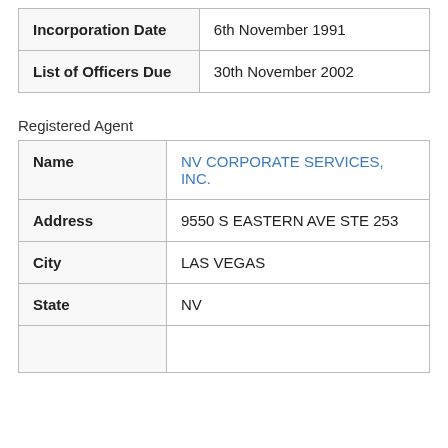|  |  |
| --- | --- |
| Incorporation Date | 6th November 1991 |
| List of Officers Due | 30th November 2002 |
Registered Agent
|  |  |
| --- | --- |
| Name | NV CORPORATE SERVICES, INC. |
| Address | 9550 S EASTERN AVE STE 253 |
| City | LAS VEGAS |
| State | NV |